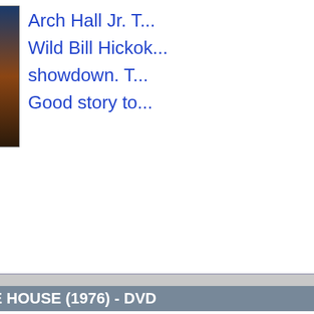[Figure (photo): DVD cover image for a western film featuring Arch Hall Jr., partially visible at top]
Arch Hall Jr. ... Wild Bill Hickok... showdown. T... Good story to...
DEATH AT LOVE HOUSE (1976) - DVD
[Figure (photo): DVD cover for Death at Love House (1976) showing a house in a golden ornate frame with text 'Death at Love House']
An ABC TV M... Jackson. The... research a bo... Joan Blondell...
DEATH FROM A DISTANCE (1935)
[Figure (photo): Partial DVD cover for Death from a Distance (1935), showing bold text 'DEAT' at top]